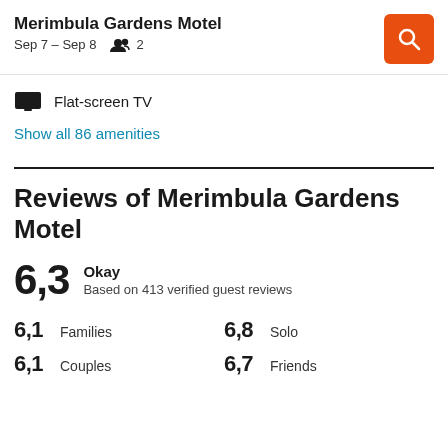Merimbula Gardens Motel Sep 7 – Sep 8   2
Flat-screen TV
Show all 86 amenities
Reviews of Merimbula Gardens Motel
6,3 Okay Based on 413 verified guest reviews
6,1 Families   6,8 Solo
6,1 Couples   6,7 Friends